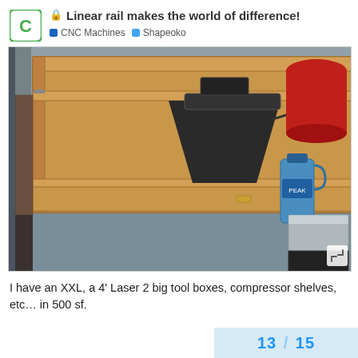Linear rail makes the world of difference! | CNC Machines | Shapeoko
[Figure (photo): A CNC machine (Shapeoko XXL) mounted inside a wooden cabinet/enclosure sitting on a gray concrete floor in a workshop. The cabinet has a drawer at the bottom with a brass pull handle. The machine's z-axis and router are visible through the open front. To the left are metal pipes/columns, and to the right is a red bucket, a blue bottle of windshield fluid, and gray storage containers. An expand/fullscreen icon is visible in the lower right corner of the image.]
I have an XXL, a 4' Laser 2 big tool boxes, compressor shelves, etc… in 500 sf.
13 / 15